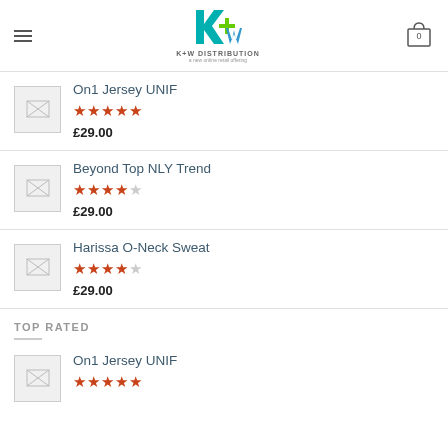K+W Distribution - header with logo and cart
On1 Jersey UNIF - rated 5 stars - £29.00
Beyond Top NLY Trend - rated 4 stars - £29.00
Harissa O-Neck Sweat - rated 4 stars - £29.00
TOP RATED
On1 Jersey UNIF - rated 5 stars